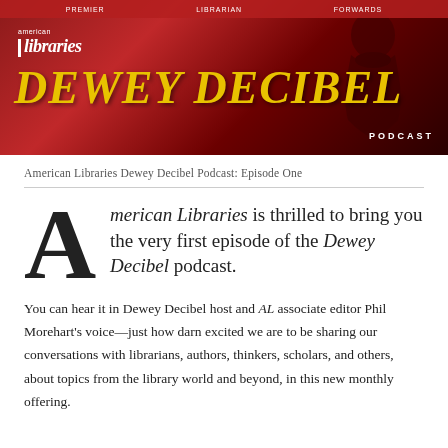[Figure (screenshot): American Libraries Dewey Decibel Podcast banner. Deep red/crimson background with a silhouetted portrait figure on the right. Top navigation bar with white text links. American libraries logo in white top left. Large yellow italic serif text reading DEWEY DECIBEL. White uppercase PODCAST label at bottom right.]
American Libraries Dewey Decibel Podcast: Episode One
American Libraries is thrilled to bring you the very first episode of the Dewey Decibel podcast.
You can hear it in Dewey Decibel host and AL associate editor Phil Morehart’s voice—just how darn excited we are to be sharing our conversations with librarians, authors, thinkers, scholars, and others, about topics from the library world and beyond, in this new monthly offering.